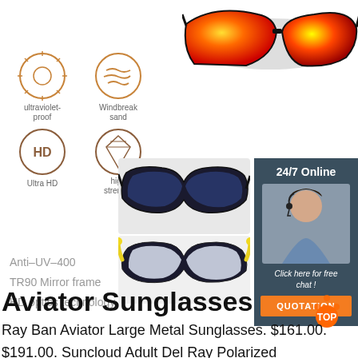[Figure (photo): Colorful mirrored sport sunglasses with red/orange/yellow lenses, top right]
[Figure (infographic): Four feature icons: sun (ultraviolet-proof), wind (Windbreak sand), HD (Ultra HD), diamond (high strength)]
[Figure (photo): Dark sport sunglasses with blue lenses]
[Figure (photo): Customer service representative with headset, 24/7 Online banner, Click here for free chat, QUOTATION button]
[Figure (photo): Sport sunglasses with yellow tips and clear lenses]
Anti-UV-400
TR90 Mirror frame
HD optics technology
Aviator Sunglasses
Ray Ban Aviator Large Metal Sunglasses. $161.00. $191.00. Suncloud Adult Del Ray Polarized Sunglasses. $59.95. Ray-Ban Aviator Polarized Sunglasses.